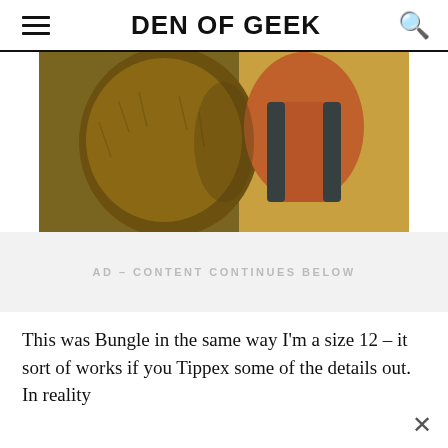DEN OF GEEK
[Figure (photo): Two people hugging — one wearing a brown furry costume, the other in a red and black vest jacket, with a yellow/orange background]
AD – CONTENT CONTINUES BELOW
This was Bungle in the same way I'm a size 12 – it sort of works if you Tippex some of the details out. In reality